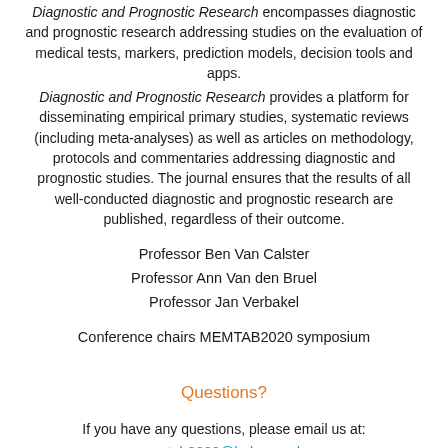Diagnostic and Prognostic Research encompasses diagnostic and prognostic research addressing studies on the evaluation of medical tests, markers, prediction models, decision tools and apps. Diagnostic and Prognostic Research provides a platform for disseminating empirical primary studies, systematic reviews (including meta-analyses) as well as articles on methodology, protocols and commentaries addressing diagnostic and prognostic studies. The journal ensures that the results of all well-conducted diagnostic and prognostic research are published, regardless of their outcome.
Professor Ben Van Calster
Professor Ann Van den Bruel
Professor Jan Verbakel
Conference chairs MEMTAB2020 symposium
Questions?
If you have any questions, please email us at: memtab2020@kuleuven.be